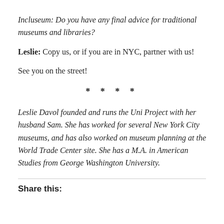Incluseum: Do you have any final advice for traditional museums and libraries?
Leslie: Copy us, or if you are in NYC, partner with us!
See you on the street!
* * * *
Leslie Davol founded and runs the Uni Project with her husband Sam. She has worked for several New York City museums, and has also worked on museum planning at the World Trade Center site. She has a M.A. in American Studies from George Washington University.
Share this: